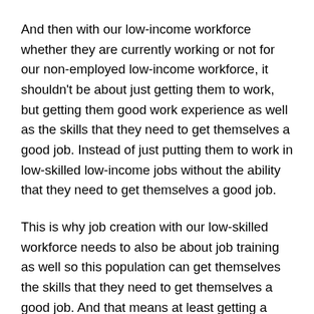And then with our low-income workforce whether they are currently working or not for our non-employed low-income workforce, it shouldn't be about just getting them to work, but getting them good work experience as well as the skills that they need to get themselves a good job. Instead of just putting them to work in low-skilled low-income jobs without the ability that they need to get themselves a good job.
This is why job creation with our low-skilled workforce needs to also be about job training as well so this population can get themselves the skills that they need to get themselves a good job. And that means at least getting a degree at a junior college or a vocational school. So they have the skills they need to do well in life. And the Federal Government and private sector with private job training